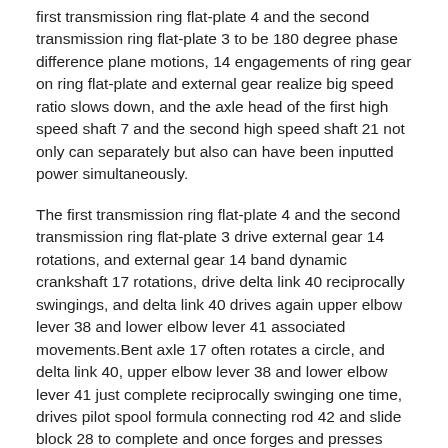first transmission ring flat-plate 4 and the second transmission ring flat-plate 3 to be 180 degree phase difference plane motions, 14 engagements of ring gear on ring flat-plate and external gear realize big speed ratio slows down, and the axle head of the first high speed shaft 7 and the second high speed shaft 21 not only can separately but also can have been inputted power simultaneously.
The first transmission ring flat-plate 4 and the second transmission ring flat-plate 3 drive external gear 14 rotations, and external gear 14 band dynamic crankshaft 17 rotations, drive delta link 40 reciprocally swingings, and delta link 40 drives again upper elbow lever 38 and lower elbow lever 41 associated movements.Bent axle 17 often rotates a circle, and delta link 40, upper elbow lever 38 and lower elbow lever 41 just complete reciprocally swinging one time, drives pilot spool formula connecting rod 42 and slide block 28 to complete and once forges and presses stroke, and this servo-pressing machine completes one action stroke.